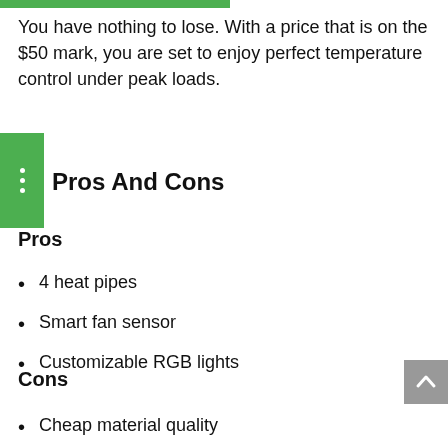You have nothing to lose. With a price that is on the $50 mark, you are set to enjoy perfect temperature control under peak loads.
Pros And Cons
Pros
4 heat pipes
Smart fan sensor
Customizable RGB lights
Cons
Cheap material quality